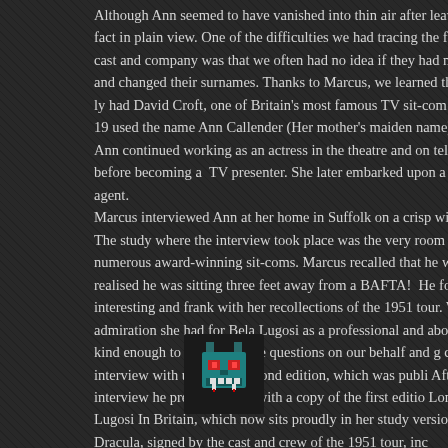Although Ann seemed to have vanished into thin air after leaving the fact in plain view. One of the difficulties we had tracing the female cast and company was that we often had no idea if they had married and changed their surnames. Thanks to Marcus, we learned that not only had David Croft, one of Britain's most famous TV sit-com writers, in 19... used the name Ann Callender (Her mother's maiden name) professionally. Ann continued working as an actress in the theatre and on television before becoming a TV presenter. She later embarked upon a successful... agent.
Marcus interviewed Ann at her home in Suffolk on a crisp winter's... The study where the interview took place was the very room where... his numerous award-winning sit-coms. Marcus recalled that he wa... until he realised he was sitting three feet away from a BAFTA! He fo... interesting and frank with her recollections of the 1951 tour. What... the admiration she had for Bela Lugosi as a professional and above... He was kind enough to ask Ann some questions on our behalf and g... complete interview with us for our second edition, which was publi... After the interview he presented Ann with a copy of the first editio... London: Bela Lugosi In Britain, which now sits proudly in her study... version of Dracula, signed by the cast and crew of the 1951 tour, inc...
[Figure (logo): Small pixel-art style monster/vampire face icon in teal/cyan and dark colors, appears to be a logo for a publication about Bela Lugosi in Britain]